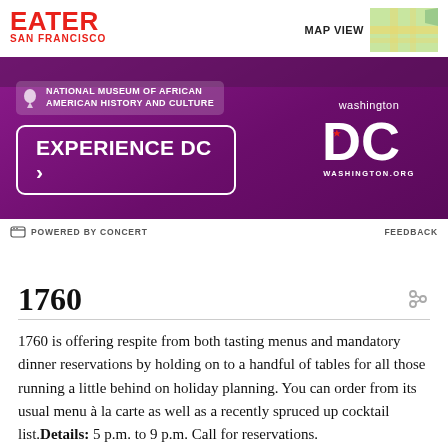EATER SAN FRANCISCO
[Figure (screenshot): Washington DC tourism advertisement banner with purple background, National Museum of African American History and Culture badge, Experience DC button, and Washington DC logo with washington.org]
POWERED BY CONCERT
FEEDBACK
1760
1760 is offering respite from both tasting menus and mandatory dinner reservations by holding on to a handful of tables for all those running a little behind on holiday planning. You can order from its usual menu à la carte as well as a recently spruced up cocktail list. Details: 5 p.m. to 9 p.m. Call for reservations.